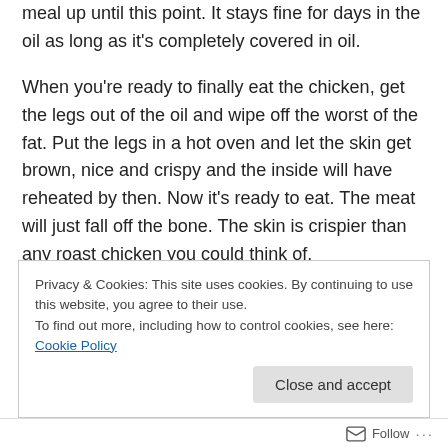meal up until this point. It stays fine for days in the oil as long as it's completely covered in oil.
When you're ready to finally eat the chicken, get the legs out of the oil and wipe off the worst of the fat. Put the legs in a hot oven and let the skin get brown, nice and crispy and the inside will have reheated by then. Now it's ready to eat. The meat will just fall off the bone. The skin is crispier than any roast chicken you could think of.
Serve with salad, potatoes of any variety or whatever else you prefer as a side dish to chicken.
Privacy & Cookies: This site uses cookies. By continuing to use this website, you agree to their use.
To find out more, including how to control cookies, see here: Cookie Policy
Follow